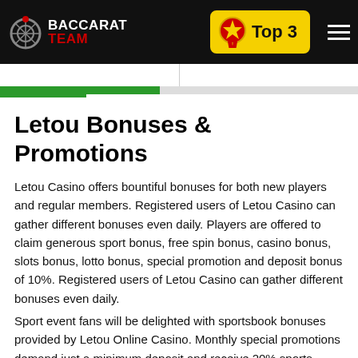BACCARAT TEAM — Top 3
Letou Bonuses & Promotions
Letou Casino offers bountiful bonuses for both new players and regular members. Registered users of Letou Casino can gather different bonuses even daily. Players are offered to claim generous sport bonus, free spin bonus, casino bonus, slots bonus, lotto bonus, special promotion and deposit bonus of 10%. Registered users of Letou Casino can gather different bonuses even daily.
Sport event fans will be delighted with sportsbook bonuses provided by Letou Online Casino. Monthly special promotions demand just a minimum deposit and receive 20% sports bonus